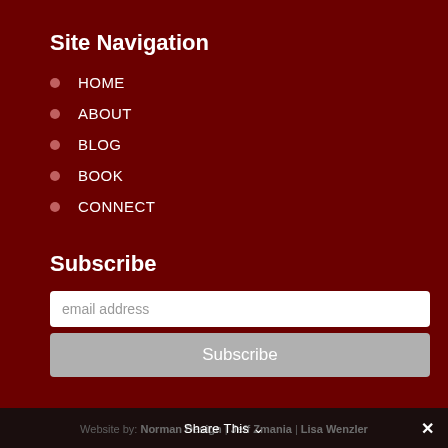Site Navigation
HOME
ABOUT
BLOG
BOOK
CONNECT
Subscribe
email address
Subscribe
Website by: Norman Design | Jeff Zmania | Lisa Wenzler
Share This